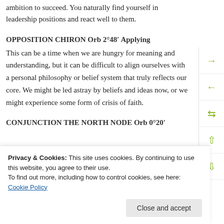ambition to succeed. You naturally find yourself in leadership positions and react well to them.
OPPOSITION CHIRON Orb 2°48′ Applying
This can be a time when we are hungry for meaning and understanding, but it can be difficult to align ourselves with a personal philosophy or belief system that truly reflects our core. We might be led astray by beliefs and ideas now, or we might experience some form of crisis of faith.
CONJUNCTION THE NORTH NODE Orb 0°20′
through preaching or teaching, may be part of your
Privacy & Cookies: This site uses cookies. By continuing to use this website, you agree to their use.
To find out more, including how to control cookies, see here: Cookie Policy